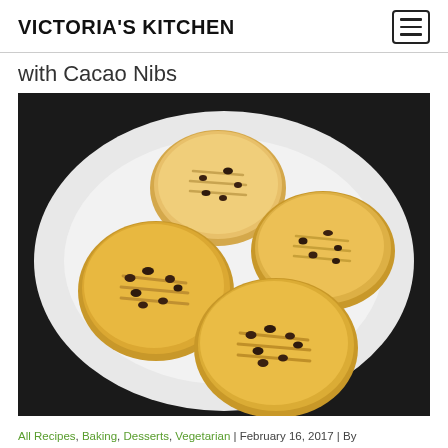VICTORIA'S KITCHEN
with Cacao Nibs
[Figure (photo): Four round peanut butter cookies with cacao nibs arranged on a white plate, photographed from above on a dark background. The cookies have fork-press crosshatch patterns on top.]
All Recipes, Baking, Desserts, Vegetarian | February 16, 2017 | By